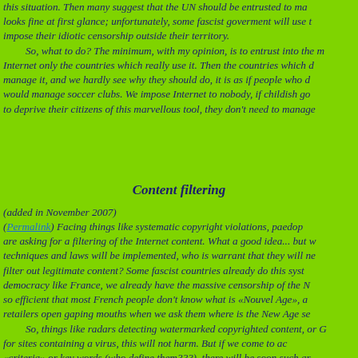this situation. Then many suggest that the UN should be entrusted to manage it. This looks fine at first glance; unfortunately, some fascist government will use this to impose their idiotic censorship outside their territory. So, what to do? The minimum, with my opinion, is to entrust into the management of Internet only the countries which really use it. Then the countries which do not want to manage it, and we hardly see why they should do, it is as if people who don't play tennis would manage soccer clubs. We impose Internet to nobody, if childish governments want to deprive their citizens of this marvellous tool, they don't need to manage it.
Content filtering
(added in November 2007)
(Permalink) Facing things like systematic copyright violations, paedophilia, people are asking for a filtering of the Internet content. What a good idea... but when these techniques and laws will be implemented, who is warrant that they will never be used to filter out legitimate content? Some fascist countries already do this systematically. In a democracy like France, we already have the massive censorship of the New Age, which is so efficient that most French people don't know what is «Nouvel Age», and bookshop retailers open gaping mouths when we ask them where is the New Age section. So, things like radars detecting watermarked copyrighted content, or Google blacklists for sites containing a virus, this will not harm. But if we come to accepting filtering on «criteria» or key words (who define them???), there will be soon such abuses that it is a lesser evil to let today's bad things on the Internet. This is not a prospect, as today most access providers already offer «kid filters» without telling us who define what is